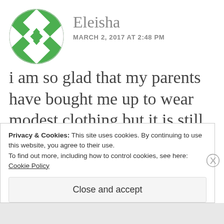[Figure (illustration): Green and white geometric diamond/quilt pattern avatar icon in a circle]
Eleisha
MARCH 2, 2017 AT 2:48 PM
i am so glad that my parents have bought me up to wear modest clothing but it is still stylish without being immodest. i am so glad that there are men out there who appreciate modest girls, as i want my future
Privacy & Cookies: This site uses cookies. By continuing to use this website, you agree to their use.
To find out more, including how to control cookies, see here:
Cookie Policy
Close and accept